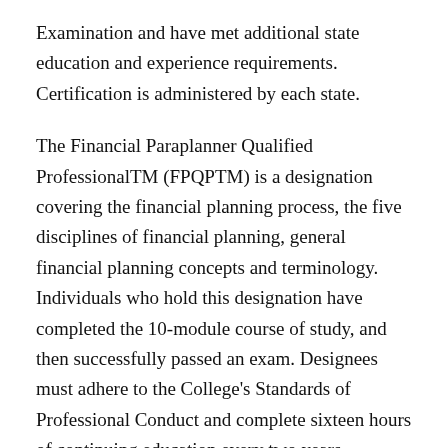Examination and have met additional state education and experience requirements. Certification is administered by each state.
The Financial Paraplanner Qualified ProfessionalTM (FPQPTM) is a designation covering the financial planning process, the five disciplines of financial planning, general financial planning concepts and terminology. Individuals who hold this designation have completed the 10-module course of study, and then successfully passed an exam. Designees must adhere to the College's Standards of Professional Conduct and complete sixteen hours of continuing education every two years.
The opinions expressed herein are those of SYM Financial